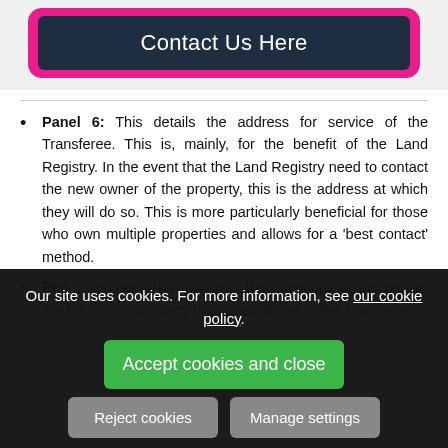[Figure (other): Pink rounded rectangle containing dark navy 'Contact Us Here' button]
Panel 6: This details the address for service of the Transferee. This is, mainly, for the benefit of the Land Registry. In the event that the Land Registry need to contact the new owner of the property, this is the address at which they will do so. This is more particularly beneficial for those who own multiple properties and allows for a 'best contact' method.
Panel [7]: [partially obscured] transfer which confirms the intentions of the parties are for [transfer] to [property] described above to the Transferee.
Our site uses cookies. For more information, see our cookie policy.
Accept cookies and close
Reject cookies
Manage settings